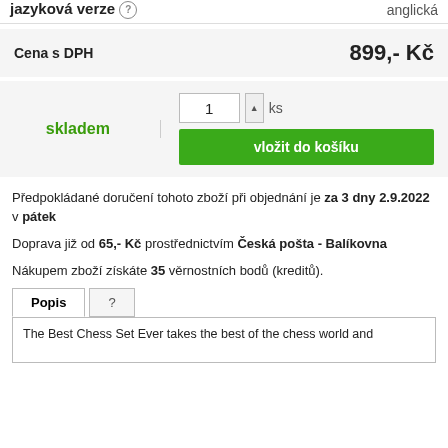jazyková verze  anglická
| Cena s DPH |  |
| --- | --- |
| Cena s DPH | 899,- Kč |
skladem
1 ks  vložit do košíku
Předpokládané doručení tohoto zboží při objednání je za 3 dny 2.9.2022 v pátek
Doprava již od 65,- Kč prostřednictvím Česká pošta - Balíkovna
Nákupem zboží získáte 35 věrnostních bodů (kreditů).
Popis  ?
The Best Chess Set Ever takes the best of the chess world and